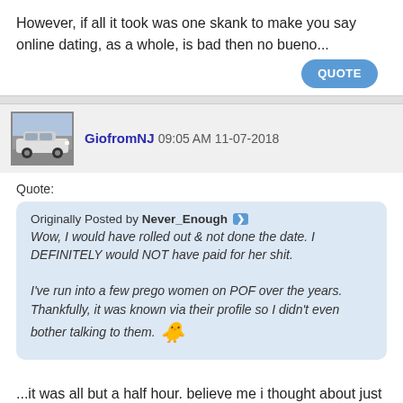However, if all it took was one skank to make you say online dating, as a whole, is bad then no bueno...
QUOTE
GiofromNJ 09:05 AM 11-07-2018
Quote:
Originally Posted by Never_Enough
Wow, I would have rolled out & not done the date. I DEFINITELY would NOT have paid for her shit.

I've run into a few prego women on POF over the years. Thankfully, it was known via their profile so I didn't even bother talking to them.
...it was all but a half hour. believe me i thought about just leavin.
QUOTE